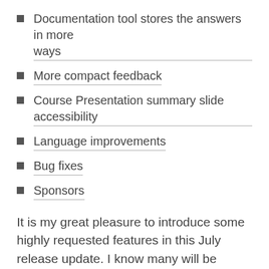Documentation tool stores the answers in more ways
More compact feedback
Course Presentation summary slide accessibility
Language improvements
Bug fixes
Sponsors
It is my great pleasure to introduce some highly requested features in this July release update. I know many will be excited about some of the things we're launching here, and the excitement for the next release will probably be even bigger!